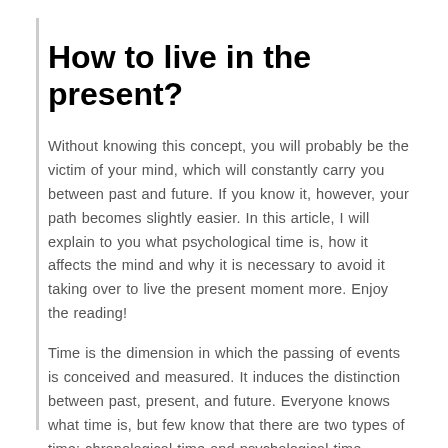How to live in the present?
Without knowing this concept, you will probably be the victim of your mind, which will constantly carry you between past and future. If you know it, however, your path becomes slightly easier. In this article, I will explain to you what psychological time is, how it affects the mind and why it is necessary to avoid it taking over to live the present moment more. Enjoy the reading!
Time is the dimension in which the passing of events is conceived and measured. It induces the distinction between past, present, and future. Everyone knows what time is, but few know that there are two types of time: chronological time and psychological time.